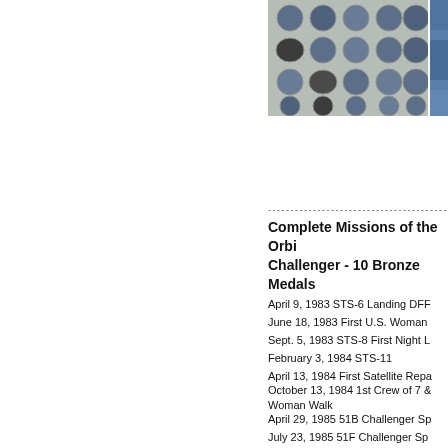[Figure (photo): Grid of circular bronze medals/coins with space imagery laid on a gray background surface]
[Figure (photo): Partial view of another medal or coin with blue coloring, cropped at right edge]
Complete Missions of the Orbi Challenger - 10 Bronze Medals
April 9, 1983 STS-6 Landing DFF
June 18, 1983 First U.S. Woman
Sept. 5, 1983 STS-8 First Night L
February 3, 1984 STS-11
April 13, 1984 First Satellite Repa
October 13, 1984 1st Crew of 7 & Woman Walk
April 29, 1985 51B Challenger Sp
July 23, 1985 51F Challenger Sp